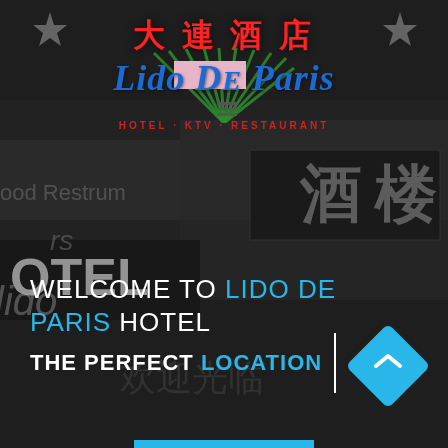[Figure (photo): Dark/monochrome background photo of hotel signage showing Chinese characters for restaurant and hotel, with neon signs]
[Figure (logo): Lido De Paris Hotel logo with Chinese characters 大連酒店 in red, blue italic script reading Lido De Paris, and subtitle HOTEL · KTV · RESTAURANT in red, with green fan/star decorative elements]
WELCOME TO LIDO DE PARIS HOTEL
THE PERFECT LOCATION